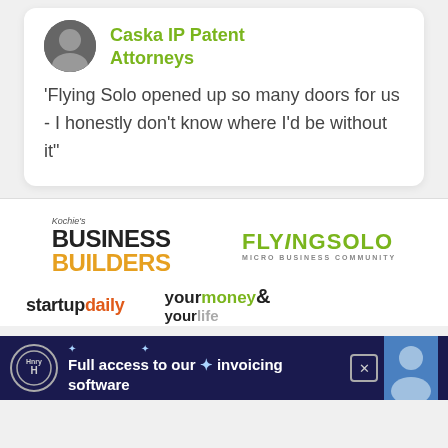[Figure (photo): Circular avatar photo of a person in black and white]
Caska IP Patent Attorneys
'Flying Solo opened up so many doors for us - I honestly don't know where I'd be without it"
[Figure (logo): Kochie's Business Builders logo - BUSINESS in black bold, BUILDERS in orange bold]
[Figure (logo): FLYINGSOLO Micro Business Community logo in green]
[Figure (logo): startupdaily logo - startup in black, daily in orange]
[Figure (logo): yourmoney & yourlife logo]
Full access to our invoicing software